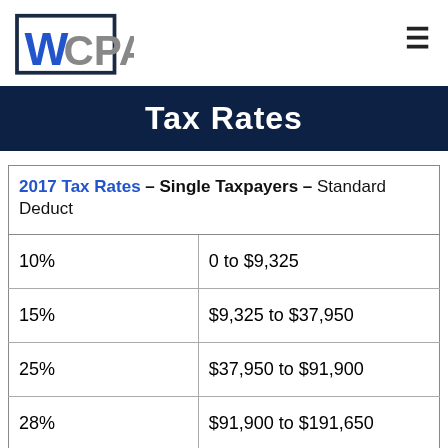WCPA logo and navigation
Tax Rates
| Rate | Income Range |
| --- | --- |
| 10% | 0 to $9,325 |
| 15% | $9,325 to $37,950 |
| 25% | $37,950 to $91,900 |
| 28% | $91,900 to $191,650 |